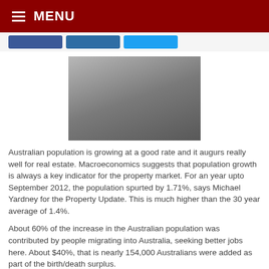MENU
[Figure (photo): A placeholder/blurred rectangular image with a dark grey gradient, centered on the page.]
Australian population is growing at a good rate and it augurs really well for real estate. Macroeconomics suggests that population growth is always a key indicator for the property market. For an year upto September 2012, the population spurted by 1.71%, says Michael Yardney for the Property Update. This is much higher than the 30 year average of 1.4%.
About 60% of the increase in the Australian population was contributed by people migrating into Australia, seeking better jobs here. About $40%, that is nearly 154,000 Australians were added as part of the birth/death surplus.
Dwelling...